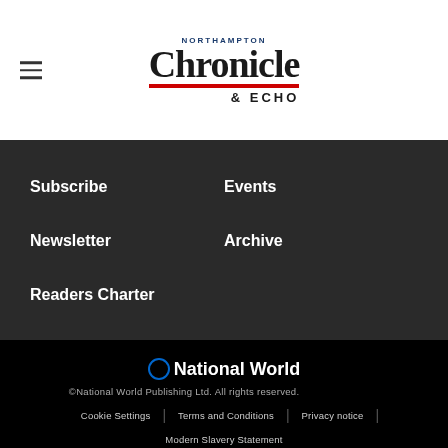NORTHAMPTON Chronicle & ECHO
Subscribe
Events
Newsletter
Archive
Readers Charter
[Figure (logo): National World logo - circular icon with blue ring followed by bold white text 'National World']
©National World Publishing Ltd. All rights reserved. Cookie Settings | Terms and Conditions | Privacy notice | Modern Slavery Statement